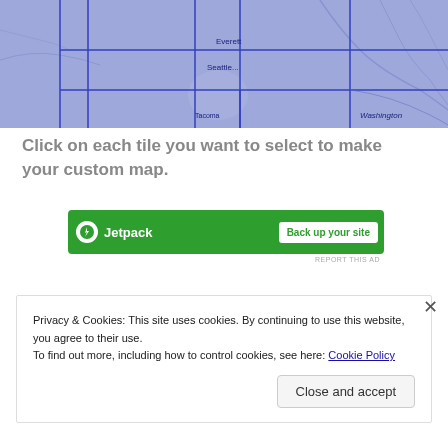[Figure (map): A map of Washington state showing the Seattle/Everett area with blue grid tiles overlaid for custom map selection. City labels visible: Everett, Seattle, Tacoma, Washington.]
Click on each tile you want to select to make your custom map.
[Figure (infographic): Jetpack advertisement banner in green with white bolt icon, 'Jetpack' text, and a white 'Back up your site' button.]
REPORT THIS AD
Privacy & Cookies: This site uses cookies. By continuing to use this website, you agree to their use.
To find out more, including how to control cookies, see here: Cookie Policy
Close and accept